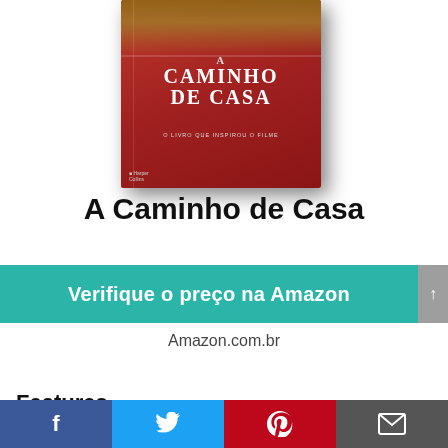[Figure (photo): Book cover of 'A Caminho de Casa' showing a red book with a dog image and text 'O Livro que Inspirou o Filme']
A Caminho de Casa
Verifique o preço na Amazon
Amazon.com.br
Features